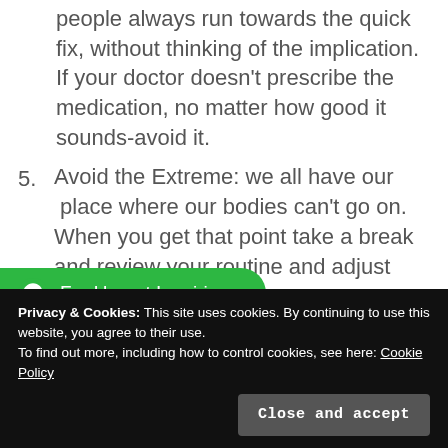people always run towards the quick fix, without thinking of the implication. If your doctor doesn't prescribe the medication, no matter how good it sounds-avoid it.
5. Avoid the Extreme: we all have our place where our bodies can't go on. When you get that point take a break and review your routine and adjust your plan
[Figure (other): WhatsApp chat button - green pill-shaped button with WhatsApp icon and text 'For Urgent Inquiries...']
Privacy & Cookies: This site uses cookies. By continuing to use this website, you agree to their use.
To find out more, including how to control cookies, see here: Cookie Policy
Close and accept
most importantly be part our community-